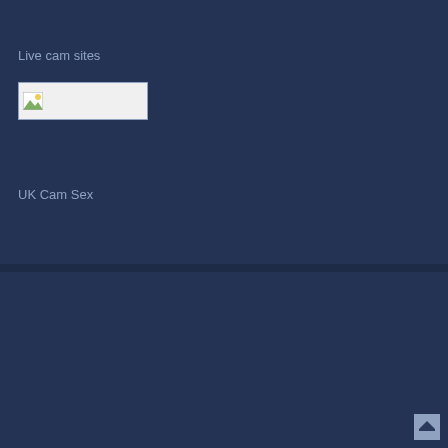Live cam sites
[Figure (other): Broken/unloaded image placeholder with small icon]
UK Cam Sex
Live Sex Cam Room